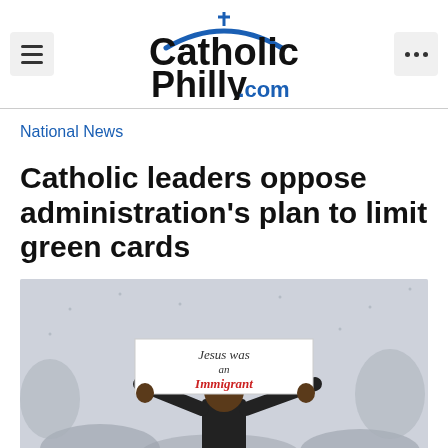CatholicPhilly.com
National News
Catholic leaders oppose administration's plan to limit green cards
[Figure (photo): A man holds up a sign reading 'Jesus was an Immigrant' above a crowd in misty/rainy conditions]